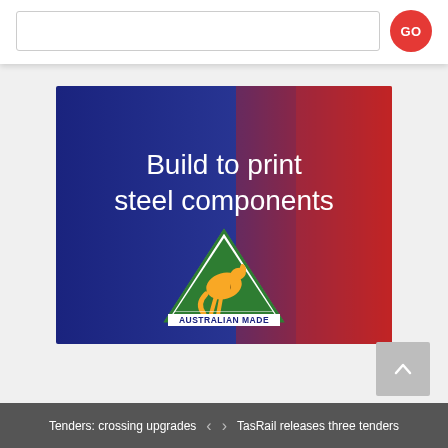[Figure (screenshot): Search input box with GO button (red circle) on the right]
[Figure (illustration): Advertisement banner with blue-to-red gradient background, text 'Build to print steel components' and Australian Made logo (green triangle with kangaroo)]
Tenders: crossing upgrades  <  >  TasRail releases three tenders